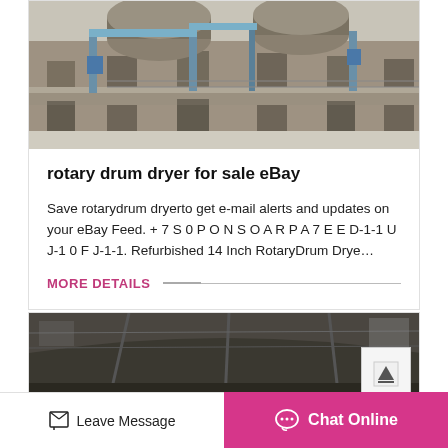[Figure (photo): Industrial rotary drum dryer facility — large cylindrical drums elevated on concrete supports, industrial piping and scaffolding visible]
rotary drum dryer for sale eBay
Save rotarydrum dryerto get e-mail alerts and updates on your eBay Feed. + 7 S 0 P O N S O A R P A 7 E E D-1-1 U J-1 0 F J-1-1. Refurbished 14 Inch RotaryDrum Drye…
MORE DETAILS
[Figure (photo): Second industrial facility photo — partially visible at bottom of page, appears to show interior industrial structure]